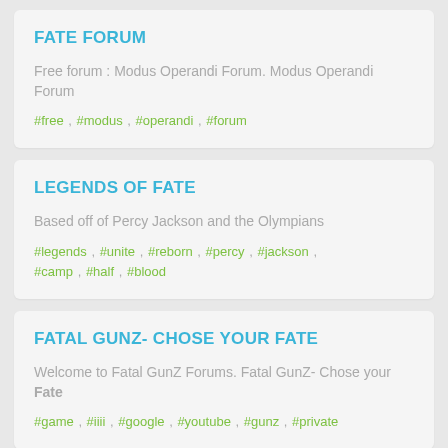FATE FORUM
Free forum : Modus Operandi Forum. Modus Operandi Forum
#free , #modus , #operandi , #forum
LEGENDS OF FATE
Based off of Percy Jackson and the Olympians
#legends , #unite , #reborn , #percy , #jackson , #camp , #half , #blood
FATAL GUNZ- CHOSE YOUR FATE
Welcome to Fatal GunZ Forums. Fatal GunZ- Chose your Fate
#game , #iiii , #google , #youtube , #gunz , #private